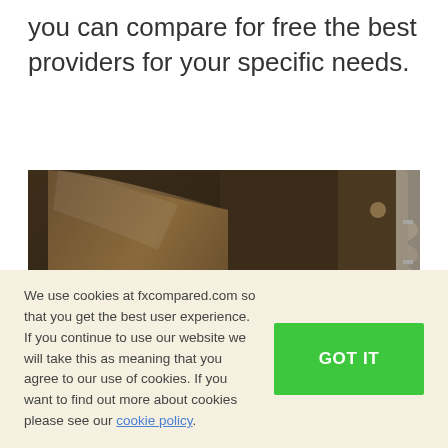you can compare for free the best providers for your specific needs.
[Figure (photo): Stacked brown felt cowboy hats, close-up photograph showing multiple hats piled on top of each other with braided hatband detail visible.]
We use cookies at fxcompared.com so that you get the best user experience. If you continue to use our website we will take this as meaning that you agree to our use of cookies. If you want to find out more about cookies please see our cookie policy.